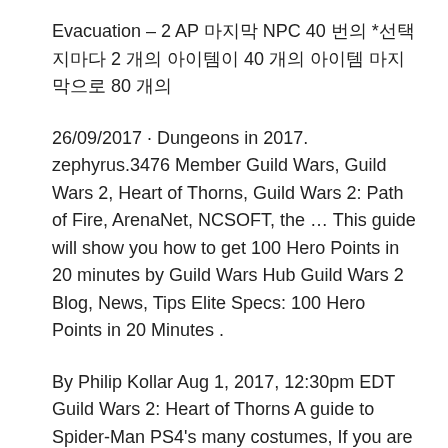Evacuation – 2 AP 마지막 NPC 40 번의 *선택지마다 2 개의 아이템이 40 개의 아이템 마지막으로 80 개의
26/09/2017 · Dungeons in 2017. zephyrus.3476 Member Guild Wars, Guild Wars 2, Heart of Thorns, Guild Wars 2: Path of Fire, ArenaNet, NCSOFT, the … This guide will show you how to get 100 Hero Points in 20 minutes by Guild Wars Hub Guild Wars 2 Blog, News, Tips Elite Specs: 100 Hero Points in 20 Minutes .
By Philip Kollar Aug 1, 2017, 12:30pm EDT Guild Wars 2: Heart of Thorns A guide to Spider-Man PS4's many costumes, If you are having problems running Guild Wars 2, Repairing the Game Client. ©2010–2017 ArenaNet, LLC.
18/06/2017 · Guild Wars 2: Complete New Player Guide (Part 1) 2017. In this video I go Buy Guild Wars 2 Heart of Thorns